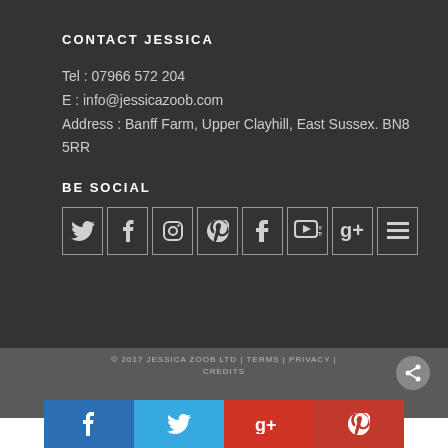CONTACT JESSICA
Tel : 07966 572 204
E : info@jessicazoob.com
Address : Banff Farm, Upper Clayhill, East Sussex. BN8 5RR
BE SOCIAL
[Figure (infographic): Row of 8 social media icon buttons: Twitter, Facebook, Instagram, Pinterest, Tumblr, YouTube, Google+, Menu]
© 2017 JESSICA ZOOB LTD | TERMS | PRIVACY | CREDITS
[Figure (infographic): Bottom social sharing bar with 4 buttons: Facebook (blue), Twitter (light blue), Google+ (red), Pinterest (dark red)]